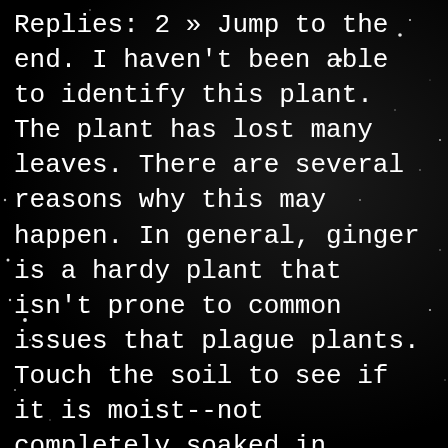Replies: 2 » Jump to the end. I haven't been able to identify this plant. The plant has lost many leaves. There are several reasons why this may happen. In general, ginger is a hardy plant that isn't prone to common issues that plague plants. Touch the soil to see if it is moist--not completely soaked in water. Keep in mind that it might be perfectly natural for the lower leaves on your plant to first turn pale yellow, then turn brown and drop off. Many of these are fungal diseases that are caused by over watering. Eventually you notice that the plant is slowly turning brown too. Chinese Money Plant leaves curling is most commonly due to low light, temperature extremes, or watering problems. Why are the leaves dying on my Ctenanthe? It may be an overwater issue but I haven't watered it in a few days but as it's soil is starting to get more dry the issues I mentioned